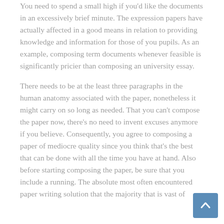You need to spend a small high if you'd like the documents in an excessively brief minute. The expression papers have actually affected in a good means in relation to providing knowledge and information for those of you pupils. As an example, composing term documents whenever feasible is significantly pricier than composing an university essay.
There needs to be at the least three paragraphs in the human anatomy associated with the paper, nonetheless it might carry on so long as needed. That you can't compose the paper now, there's no need to invent excuses anymore if you believe. Consequently, you agree to composing a paper of mediocre quality since you think that's the best that can be done with all the time you have at hand. Also before starting composing the paper, be sure that you include a running. The absolute most often encountered paper writing solution that the majority that is vast of